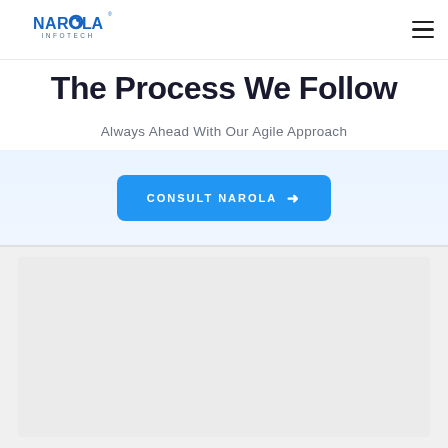Narola Infotech
The Process We Follow
Always Ahead With Our Agile Approach
CONSULT NAROLA →
[Figure (other): Gray placeholder content area below the CTA button]